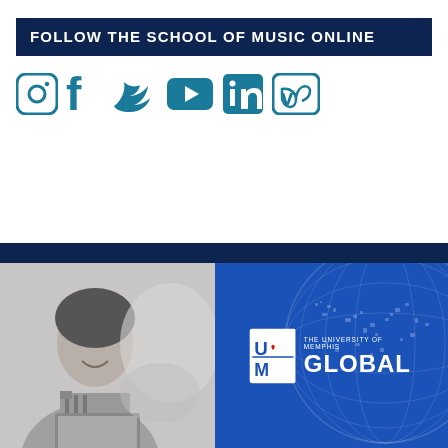FOLLOW THE SCHOOL OF MUSIC ONLINE
[Figure (infographic): Six social media icons in teal/blue: Instagram, Facebook, Twitter, YouTube, LinkedIn, Vimeo]
[Figure (photo): University of Memphis Global promotional banner showing a smiling woman with earbuds at a laptop (grayscale photo) alongside a blue globe graphic with the University of Memphis Global logo in white]